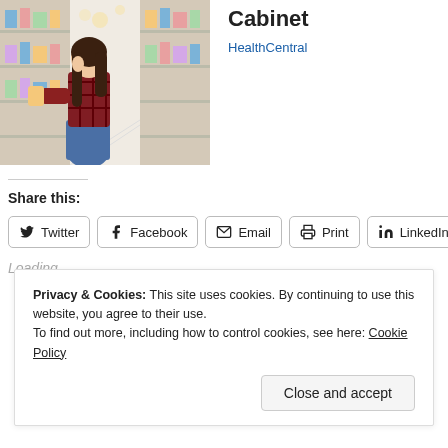[Figure (photo): Woman in a plaid shirt crouching in a store aisle reading a product label, shelves of products in background]
Cabinet
HealthCentral
Share this:
Twitter  Facebook  Email  Print  LinkedIn
Loading...
Privacy & Cookies: This site uses cookies. By continuing to use this website, you agree to their use.
To find out more, including how to control cookies, see here: Cookie Policy
Close and accept